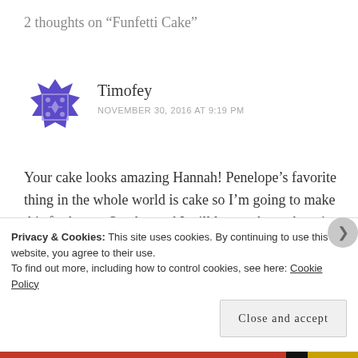2 thoughts on “Funfetti Cake”
Timofey
NOVEMBER 30, 2016 AT 9:19 PM
Your cake looks amazing Hannah! Penelope’s favorite thing in the whole world is cake so I’m going to make this for her on Sunday and I will let you know how it turns out!
★ Like
Privacy & Cookies: This site uses cookies. By continuing to use this website, you agree to their use.
To find out more, including how to control cookies, see here: Cookie Policy
Close and accept